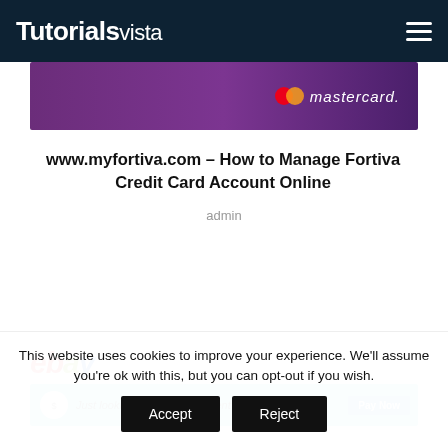Tutorialsvista
[Figure (screenshot): Mastercard credit card banner with purple gradient background and mastercard logo text]
www.myfortiva.com – How to Manage Fortiva Credit Card Account Online
admin
[Figure (screenshot): eBay advertisement banner with teal background showing payment option]
This website uses cookies to improve your experience. We'll assume you're ok with this, but you can opt-out if you wish.